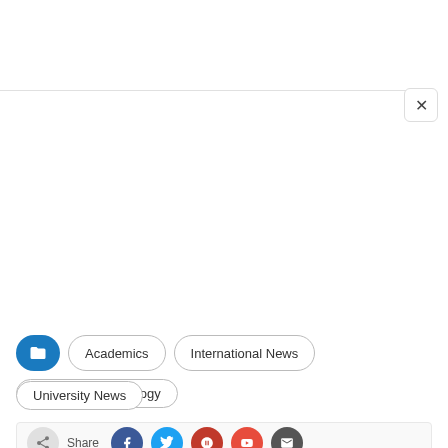[Figure (screenshot): Close button (X) in top right corner of a modal/panel, with a horizontal divider line below]
Academics
International News
Science & Technology
University News
[Figure (screenshot): Social share bar with icons for share, Facebook (blue), Twitter (light blue), a red icon, another red icon, and a dark grey icon]